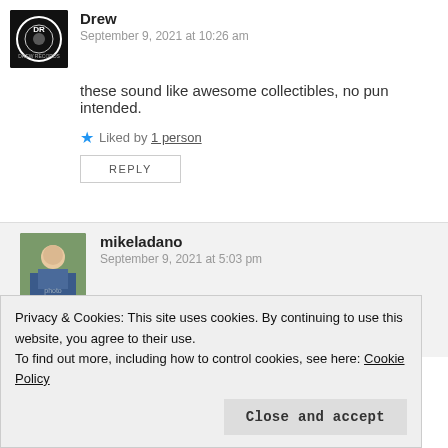Drew
September 9, 2021 at 10:26 am
these sound like awesome collectibles, no pun intended.
Liked by 1 person
REPLY
mikeladano
September 9, 2021 at 5:03 pm
They are dude! The 3″ CD in particular.
Privacy & Cookies: This site uses cookies. By continuing to use this website, you agree to their use. To find out more, including how to control cookies, see here: Cookie Policy
Close and accept
September 15, 2021 at 10:57 am